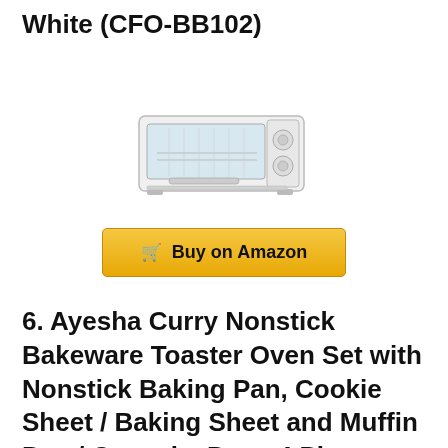White (CFO-BB102)
[Figure (photo): White toaster oven product image]
Buy on Amazon
6. Ayesha Curry Nonstick Bakeware Toaster Oven Set with Nonstick Baking Pan, Cookie Sheet / Baking Sheet and Muffin Pan / Cupcake Pan - 4 Piece,